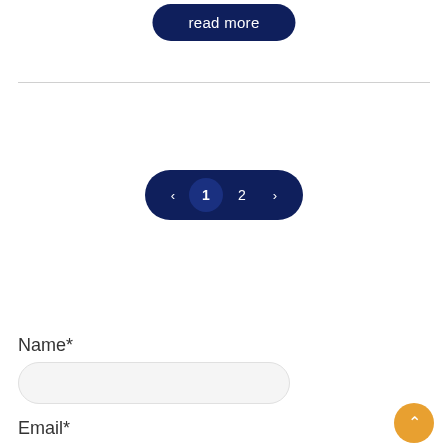[Figure (other): Dark navy blue rounded pill button with white text reading 'read more']
[Figure (other): Horizontal divider line]
[Figure (other): Pagination control: dark navy pill shape with left arrow, page number 1 (active/highlighted), page number 2, right arrow]
Name*
[Figure (other): Text input field with rounded corners and light gray background]
Email*
[Figure (other): Orange circular scroll-to-top button with upward chevron arrow]